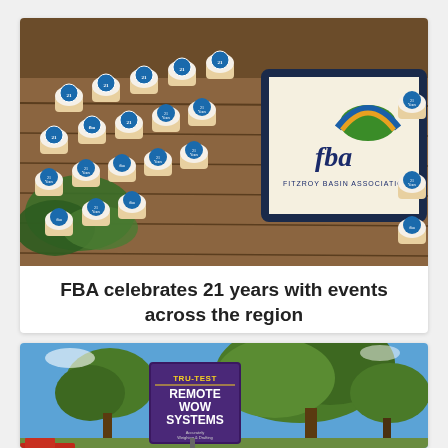[Figure (photo): Photo of a celebration cake with FBA (Fitzroy Basin Association) logo and many cupcakes with '21 Years' decorations on them, arranged on a table.]
FBA celebrates 21 years with events across the region
Posted on October 15th, 2018
[Figure (photo): Photo of a 'TRU-TEST Remote WOW Systems' banner/sign with trees and blue sky in the background.]